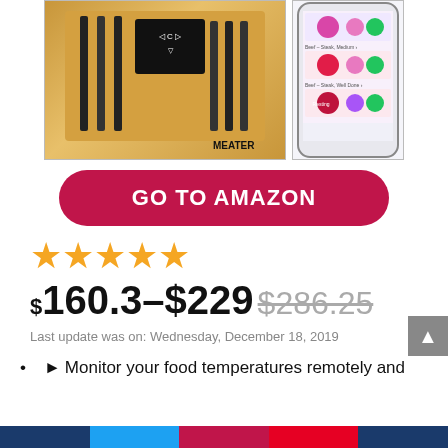[Figure (photo): Two product images side-by-side: left shows a bamboo knife block with MEATER label containing multiple knives/thermometers; right shows a smartphone with a cooking app displaying meat temperature readings.]
GO TO AMAZON
[Figure (other): 4 filled gold stars rating]
$160.3–$229 $286.25
Last update was on: Wednesday, December 18, 2019
Monitor your food temperatures remotely and